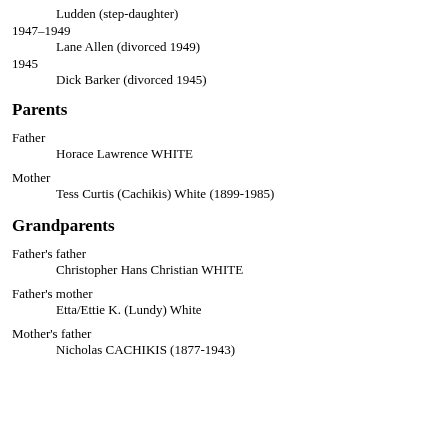Ludden (step-daughter)
1947–1949
Lane Allen (divorced 1949)
1945
Dick Barker (divorced 1945)
Parents
Father
Horace Lawrence WHITE
Mother
Tess Curtis (Cachikis) White (1899-1985)
Grandparents
Father's father
Christopher Hans Christian WHITE
Father's mother
Etta/Ettie K. (Lundy) White
Mother's father
Nicholas CACHIKIS (1877-1943)